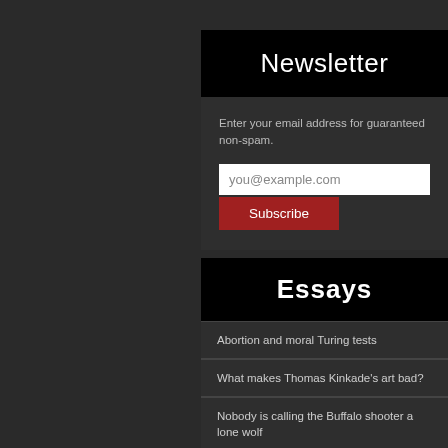Newsletter
Enter your email address for guaranteed non-spam.
you@example.com
Subscribe
Essays
Abortion and moral Turing tests
What makes Thomas Kinkade's art bad?
Nobody is calling the Buffalo shooter a lone wolf
Hex and Valence
“The Cold Equations”